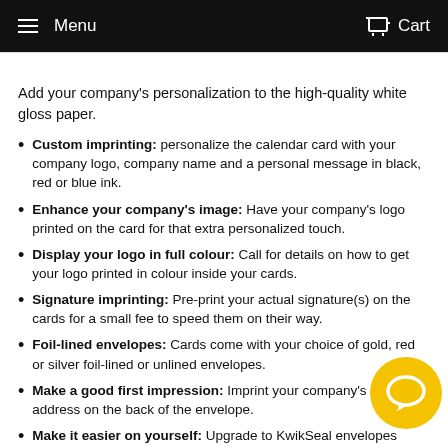Menu  Cart
Add your company's personalization to the high-quality white gloss paper.
Custom imprinting: personalize the calendar card with your company logo, company name and a personal message in black, red or blue ink.
Enhance your company's image: Have your company's logo printed on the card for that extra personalized touch.
Display your logo in full colour: Call for details on how to get your logo printed in colour inside your cards.
Signature imprinting: Pre-print your actual signature(s) on the cards for a small fee to speed them on their way.
Foil-lined envelopes: Cards come with your choice of gold, red or silver foil-lined or unlined envelopes.
Make a good first impression: Imprint your company's return address on the back of the envelope.
Make it easier on yourself: Upgrade to KwikSeal envelopes